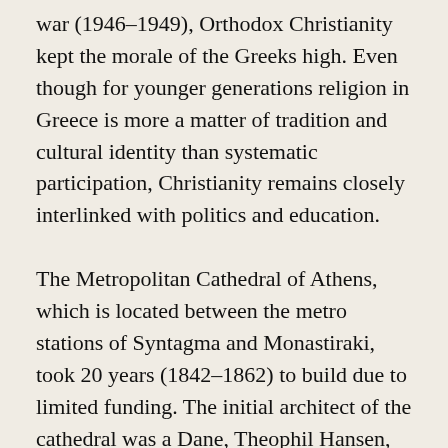war (1946–1949), Orthodox Christianity kept the morale of the Greeks high. Even though for younger generations religion in Greece is more a matter of tradition and cultural identity than systematic participation, Christianity remains closely interlinked with politics and education.
The Metropolitan Cathedral of Athens, which is located between the metro stations of Syntagma and Monastiraki, took 20 years (1842–1862) to build due to limited funding. The initial architect of the cathedral was a Dane, Theophil Hansen, who was also responsible for other 19th-century landmarks in the city, such as the National Library and the University of Athens. After Hansen's departure from Greece, two new architects took over. The inconsistency between Hansen's neoclassical